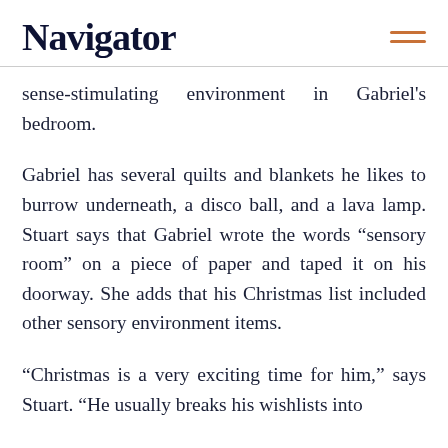Navigator
sense-stimulating environment in Gabriel's bedroom.
Gabriel has several quilts and blankets he likes to burrow underneath, a disco ball, and a lava lamp. Stuart says that Gabriel wrote the words “sensory room” on a piece of paper and taped it on his doorway. She adds that his Christmas list included other sensory environment items.
“Christmas is a very exciting time for him,” says Stuart. “He usually breaks his wishlists into